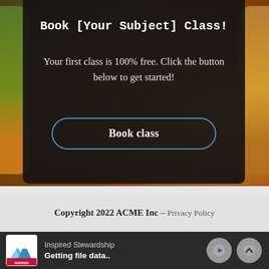[Figure (screenshot): Background image of fruit/nature scene (oranges and harvest items) partially visible behind a dark overlay panel]
Book [Your Subject] Class!
Your first class is 100% free. Click the button below to get started!
Book class
Copyright 2022 ACME Inc – Privacy Policy
Inspired Stewardship
Getting file data..